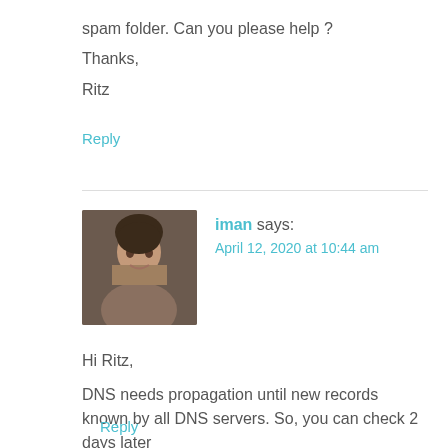spam folder. Can you please help ?
Thanks,
Ritz
Reply
iman says:
April 12, 2020 at 10:44 am
Hi Ritz,
DNS needs propagation until new records known by all DNS servers. So, you can check 2 days later
Reply